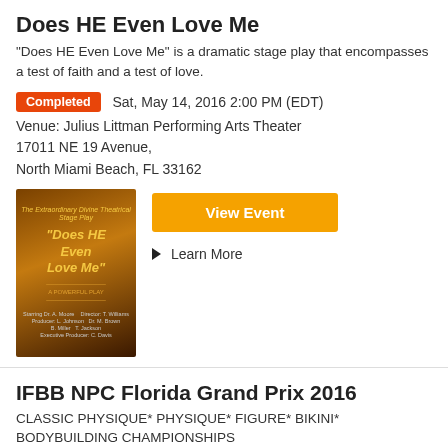Does HE Even Love Me
“Does HE Even Love Me” is a dramatic stage play that encompasses a test of faith and a test of love.
Completed  Sat, May 14, 2016 2:00 PM (EDT)
Venue: Julius Littman Performing Arts Theater
17011 NE 19 Avenue,
North Miami Beach, FL 33162
[Figure (illustration): Event poster for Does HE Even Love Me, dark golden-brown background with italic title text]
View Event
Learn More
IFBB NPC Florida Grand Prix 2016
CLASSIC PHYSIQUE* PHYSIQUE* FIGURE* BIKINI* BODYBUILDING CHAMPIONSHIPS
Completed  Sat, May 14, 2016 10:00 AM (EDT)
Venue: Keiser University
2600 N MILITARY TRAIL,
WEST PALM BEACH, FL 33409